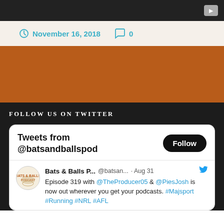[Figure (screenshot): Dark video player bar with YouTube play button icon in top right corner]
November 16, 2018   0
[Figure (screenshot): Orange/brown background section]
FOLLOW US ON TWITTER
Tweets from @batsandballspod
Bats & Balls P... @batsan... · Aug 31
Episode 319 with @TheProducer05 & @PiesJosh is now out wherever you get your podcasts. #Majsport #Running #NRL #AFL